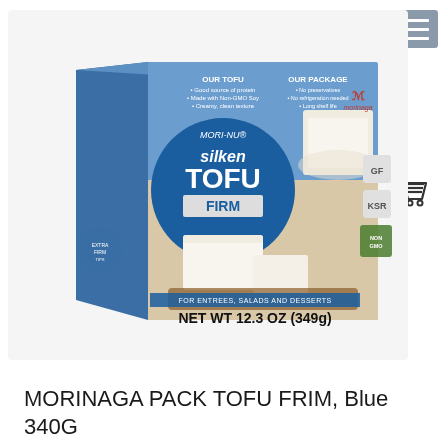[Figure (photo): Mori-Nu Silken Tofu Firm product package, blue box with image of tofu blocks. Net Wt 12.3 OZ (349g). For entrees, salads and desserts.]
MORINAGA PACK TOFU FRIM, Blue 340G